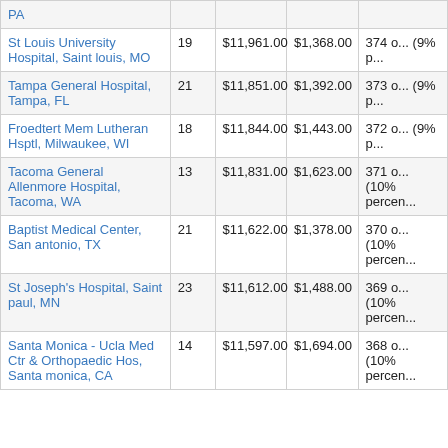| Hospital |  |  |  |  |
| --- | --- | --- | --- | --- |
| PA |  |  |  |  |
| St Louis University Hospital, Saint louis, MO | 19 | $11,961.00 | $1,368.00 | 374 o... (9% p... |
| Tampa General Hospital, Tampa, FL | 21 | $11,851.00 | $1,392.00 | 373 o... (9% p... |
| Froedtert Mem Lutheran Hsptl, Milwaukee, WI | 18 | $11,844.00 | $1,443.00 | 372 o... (9% p... |
| Tacoma General Allenmore Hospital, Tacoma, WA | 13 | $11,831.00 | $1,623.00 | 371 o... (10% percen... |
| Baptist Medical Center, San antonio, TX | 21 | $11,622.00 | $1,378.00 | 370 o... (10% percen... |
| St Joseph's Hospital, Saint paul, MN | 23 | $11,612.00 | $1,488.00 | 369 o... (10% percen... |
| Santa Monica - Ucla Med Ctr & Orthopaedic Hos, Santa monica, CA | 14 | $11,597.00 | $1,694.00 | 368 o... (10% percen... |